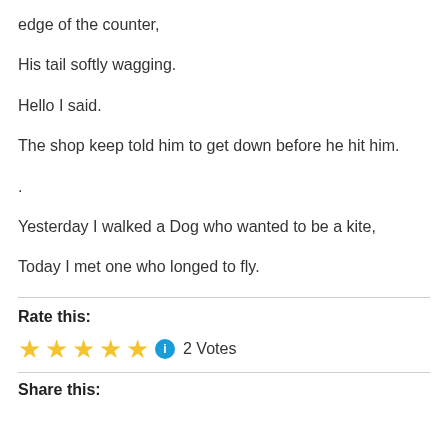edge of the counter,
His tail softly wagging.
Hello I said.
The shop keep told him to get down before he hit him.
.
Yesterday I walked a Dog who wanted to be a kite,
Today I met one who longed to fly.
Rate this:
[Figure (other): 5 gold stars rating with info icon and '2 Votes' label]
Share this: